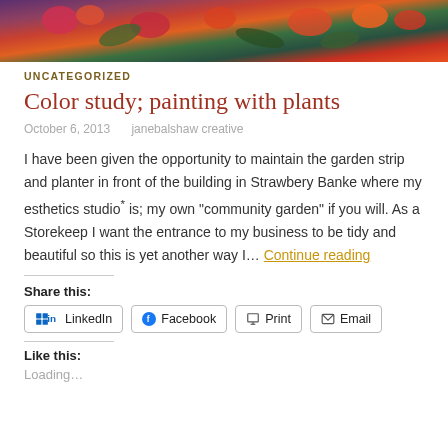[Figure (photo): Colorful flower arrangement photo at the top of the blog post]
UNCATEGORIZED
Color study; painting with plants
October 6, 2013   janebalshaw creative
I have been given the opportunity to maintain the garden strip and planter in front of the building in Strawbery Banke where my esthetics studio* is; my own "community garden" if you will. As a Storekeep I want the entrance to my business to be tidy and beautiful so this is yet another way I… Continue reading
Share this:
LinkedIn  Facebook  Print  Email
Like this:
Loading...